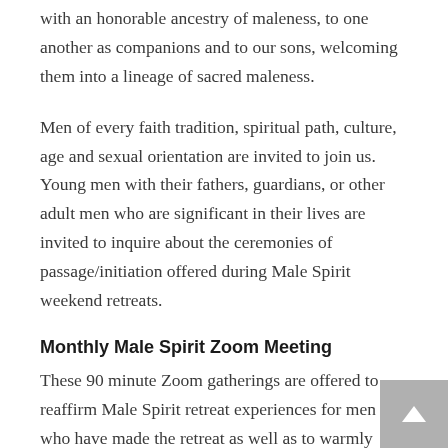with an honorable ancestry of maleness, to one another as companions and to our sons, welcoming them into a lineage of sacred maleness.
Men of every faith tradition, spiritual path, culture, age and sexual orientation are invited to join us. Young men with their fathers, guardians, or other adult men who are significant in their lives are invited to inquire about the ceremonies of passage/initiation offered during Male Spirit weekend retreats.
Monthly Male Spirit Zoom Meeting
These 90 minute Zoom gatherings are offered to reaffirm Male Spirit retreat experiences for men who have made the retreat as well as to warmly welcome